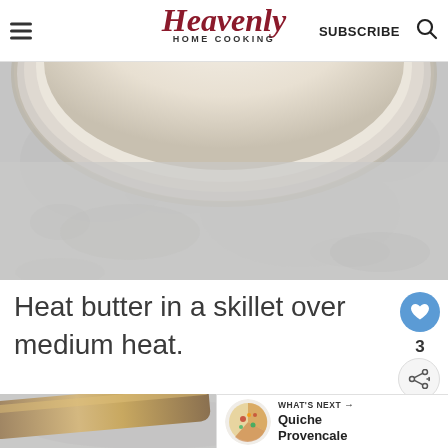Heavenly HOME COOKING | SUBSCRIBE
[Figure (photo): Top-down view of a skillet/pan on a grey stone surface, showing the circular rim of a silver pan and grey textured background.]
Heat butter in a skillet over medium heat.
[Figure (photo): Partial view of a cooking utensil (spatula or spoon) on a grey stone surface, bottom of page.]
WHAT'S NEXT → Quiche Provencale